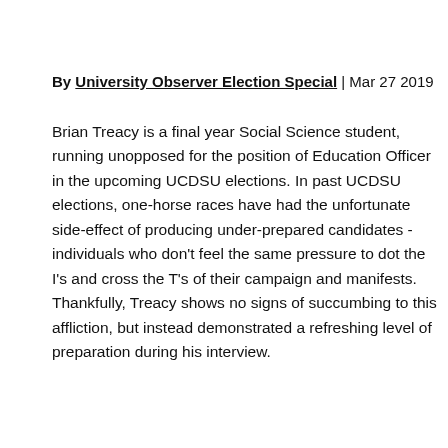By University Observer Election Special | Mar 27 2019
Brian Treacy is a final year Social Science student, running unopposed for the position of Education Officer in the upcoming UCDSU elections. In past UCDSU elections, one-horse races have had the unfortunate side-effect of producing under-prepared candidates - individuals who don't feel the same pressure to dot the I's and cross the T's of their campaign and manifests. Thankfully, Treacy shows no signs of succumbing to this affliction, but instead demonstrated a refreshing level of preparation during his interview.